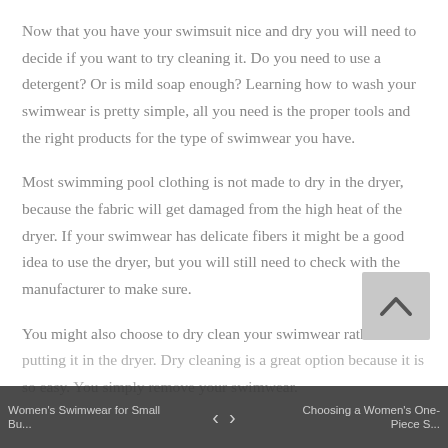Now that you have your swimsuit nice and dry you will need to decide if you want to try cleaning it. Do you need to use a detergent? Or is mild soap enough? Learning how to wash your swimwear is pretty simple, all you need is the proper tools and the right products for the type of swimwear you have.
Most swimming pool clothing is not made to dry in the dryer, because the fabric will get damaged from the high heat of the dryer. If your swimwear has delicate fibers it might be a good idea to use the dryer, but you will still need to check with the manufacturer to make sure.
You might also choose to dry clean your swimwear rather than putting it in the dryer. Dry cleaning is a great option because it is so easy. You simply remove your swimwear.
Women's Swimwear for Small Bu...   <   >   Choosing a Women's One-Piece S...